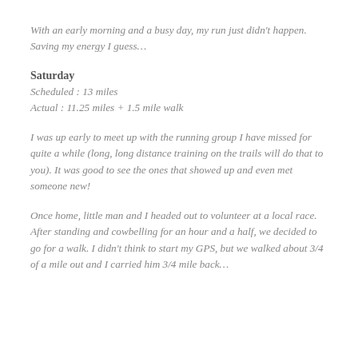With an early morning and a busy day, my run just didn’t happen. Saving my energy I guess…
Saturday
Scheduled : 13 miles
Actual : 11.25 miles + 1.5 mile walk
I was up early to meet up with the running group I have missed for quite a while (long, long distance training on the trails will do that to you). It was good to see the ones that showed up and even met someone new!
Once home, little man and I headed out to volunteer at a local race. After standing and cowbelling for an hour and a half, we decided to go for a walk. I didn’t think to start my GPS, but we walked about 3/4 of a mile out and I carried him 3/4 mile back…